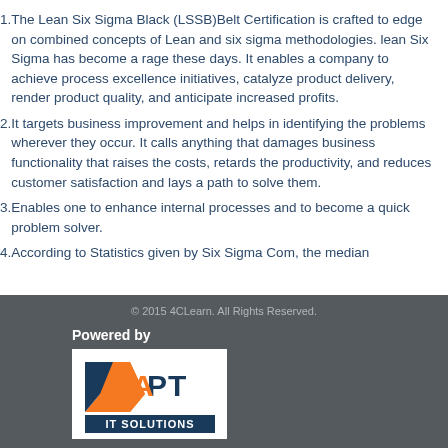The Lean Six Sigma Black (LSSB)Belt Certification is crafted to edge on combined concepts of Lean and six sigma methodologies. lean Six Sigma has become a rage these days. It enables a company to achieve process excellence initiatives, catalyze product delivery, render product quality, and anticipate increased profits.
It targets business improvement and helps in identifying the problems wherever they occur. It calls anything that damages business functionality that raises the costs, retards the productivity, and reduces customer satisfaction and lays a path to solve them.
Enables one to enhance internal processes and to become a quick problem solver.
According to Statistics given by Six Sigma Com, the median
© 2015 4CLearn. All Rights Reserved.
[Figure (logo): APT IT Solutions logo — orange chevron/arrow shape with dark navy text 'APT' and 'IT SOLUTIONS' below in a navy bar]